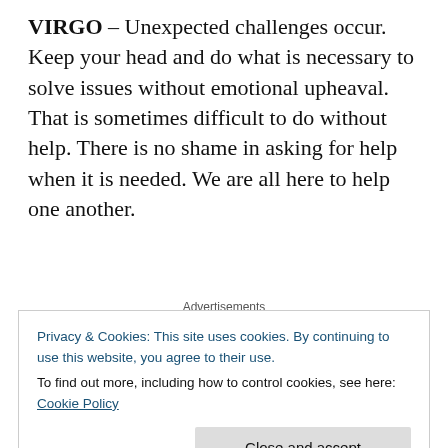VIRGO – Unexpected challenges occur. Keep your head and do what is necessary to solve issues without emotional upheaval. That is sometimes difficult to do without help. There is no shame in asking for help when it is needed. We are all here to help one another.
Advertisements
[Figure (logo): Automattic logo with circular O symbol]
LIBRA – You get what you want by believing in yourself and letting go of doubt and especially fear. Fear draws to
Privacy & Cookies: This site uses cookies. By continuing to use this website, you agree to their use.
To find out more, including how to control cookies, see here: Cookie Policy
Close and accept
ensures we receive back and for a while, it takes our mind